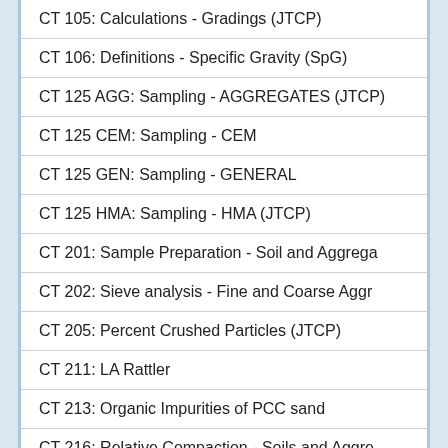CT 105: Calculations - Gradings (JTCP)
CT 106: Definitions - Specific Gravity (SpG)
CT 125 AGG: Sampling - AGGREGATES (JTCP)
CT 125 CEM: Sampling - CEM
CT 125 GEN: Sampling - GENERAL
CT 125 HMA: Sampling - HMA (JTCP)
CT 201: Sample Preparation - Soil and Aggregates
CT 202: Sieve analysis - Fine and Coarse Aggregates
CT 205: Percent Crushed Particles (JTCP)
CT 211: LA Rattler
CT 213: Organic Impurities of PCC sand
CT 216: Relative Compaction - Soils and Aggregates